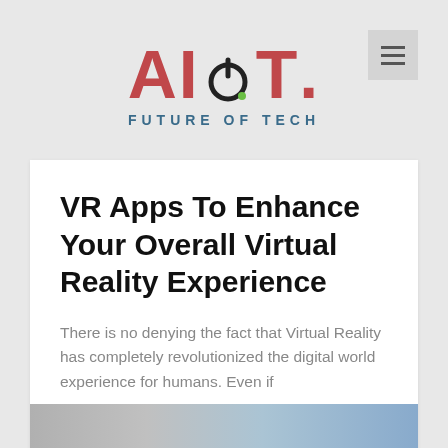AIIOT. FUTURE OF TECH
VR Apps To Enhance Your Overall Virtual Reality Experience
There is no denying the fact that Virtual Reality has completely revolutionized the digital world experience for humans. Even if
READ MORE
April 23, 2019
[Figure (photo): Partial image visible at bottom of page, appears to be a tech-related photo with blue tones]